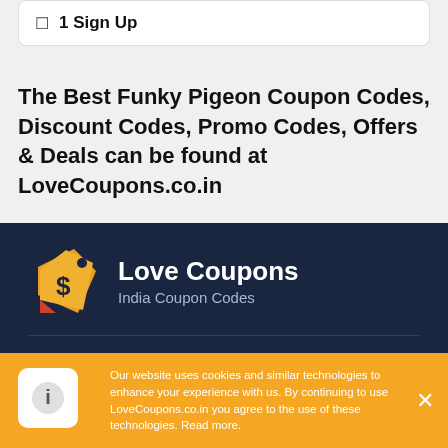☐ 1 Sign Up
The Best Funky Pigeon Coupon Codes, Discount Codes, Promo Codes, Offers & Deals can be found at LoveCoupons.co.in
[Figure (logo): Love Coupons logo — orange price tag with dollar sign, text: Love Coupons / India Coupon Codes]
Website Info
Our website uses cookies and similar technologies to enhance your experience with us. By continuing to use LoveCoupons.co.in you agree to the use of these technologies. Read more.